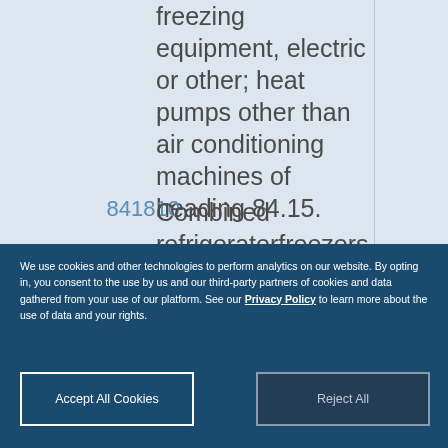freezing equipment, electric or other; heat pumps other than air conditioning machines of heading 84.15.
841810 Combined refrigeratorfreezers,
We use cookies and other technologies to perform analytics on our website. By opting in, you consent to the use by us and our third-party partners of cookies and data gathered from your use of our platform. See our Privacy Policy to learn more about the use of data and your rights.
Accept All Cookies
Reject All